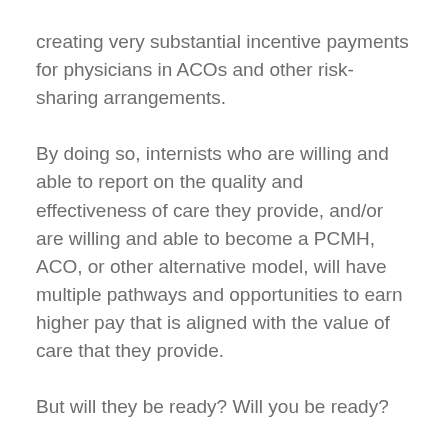creating very substantial incentive payments for physicians in ACOs and other risk-sharing arrangements.
By doing so, internists who are willing and able to report on the quality and effectiveness of care they provide, and/or are willing and able to become a PCMH, ACO, or other alternative model, will have multiple pathways and opportunities to earn higher pay that is aligned with the value of care that they provide.
But will they be ready? Will you be ready?
Today's question: What is your reaction to this proposed new bipartisan, bicameral plan to repeal the SGR and reform physician payments?